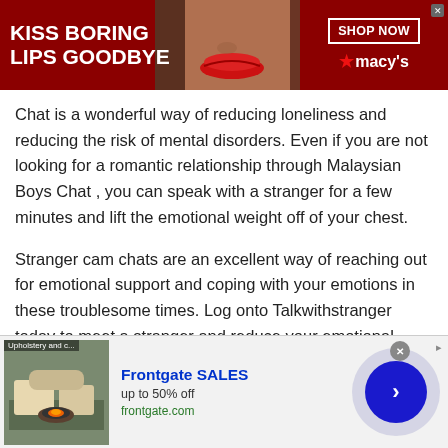[Figure (screenshot): Top advertisement banner with dark red background. Left side shows large white bold text 'KISS BORING LIPS GOODBYE'. Center shows a woman's face with red lips. Right side shows 'SHOP NOW' button in white box and Macy's logo with star.]
Chat is a wonderful way of reducing loneliness and reducing the risk of mental disorders. Even if you are not looking for a romantic relationship through Malaysian Boys Chat , you can speak with a stranger for a few minutes and lift the emotional weight off of your chest.
Stranger cam chats are an excellent way of reaching out for emotional support and coping with your emotions in these troublesome times. Log onto Talkwithstranger today to meet a stranger and reduce your emotional
[Figure (screenshot): Bottom advertisement for Frontgate SALES. Shows outdoor furniture image on the left, text 'Frontgate SALES up to 50% off frontgate.com' in the middle, and a dark blue circular arrow button on the right. There is an X close button at the top right.]